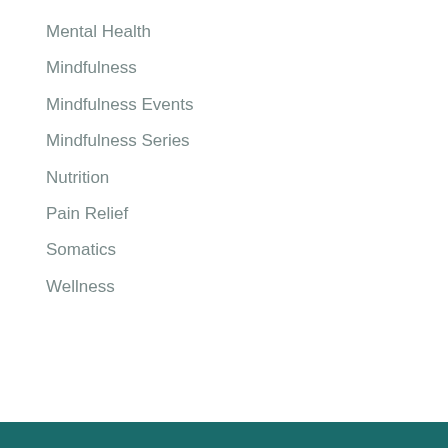Mental Health
Mindfulness
Mindfulness Events
Mindfulness Series
Nutrition
Pain Relief
Somatics
Wellness